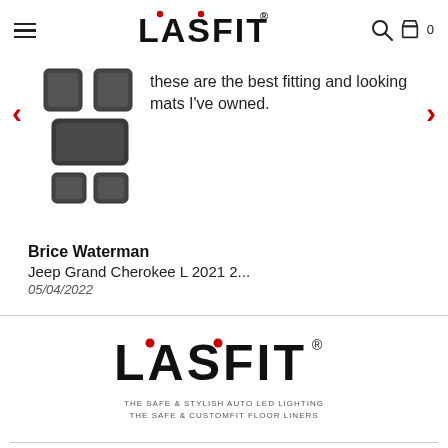LASFIT
[Figure (photo): Product image of Lasfit custom floor mats/liners set for a vehicle, shown as a dark gray 5-piece set including front and rear mats]
these are the best fitting and looking mats I've owned.
Brice Waterman
Jeep Grand Cherokee L 2021 2...
05/04/2022
[Figure (logo): LASFIT logo with taglines: THE SAFE & STYLISH AUTO LED LIGHTING / THE SAFE & CUSTOMFIT FLOOR LINERS]
Information
Support